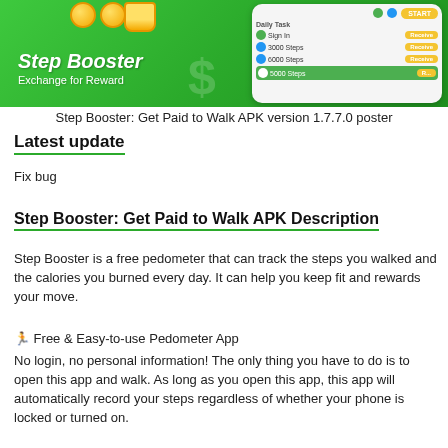[Figure (screenshot): Step Booster app promotional banner with green background showing app name 'Step Booster - Exchange for Reward' with coins graphic, and a phone screenshot showing Daily Task list with 3000 Steps, 6000 Steps, 5000 Steps rows with Receive buttons]
Step Booster: Get Paid to Walk APK version 1.7.7.0 poster
Latest update
Fix bug
Step Booster: Get Paid to Walk APK Description
Step Booster is a free pedometer that can track the steps you walked and the calories you burned every day. It can help you keep fit and rewards your move.
🏃 Free & Easy-to-use Pedometer App
No login, no personal information! The only thing you have to do is to open this app and walk. As long as you open this app, this app will automatically record your steps regardless of whether your phone is locked or turned on.